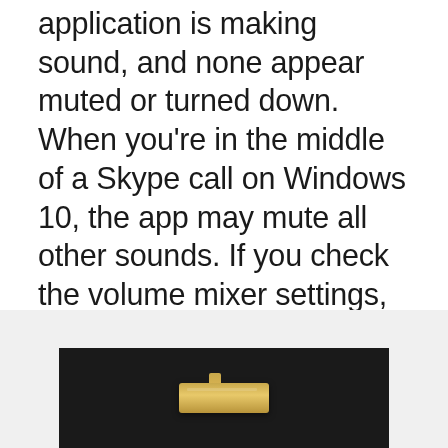application is making sound, and none appear muted or turned down. When you're in the middle of a Skype call on Windows 10, the app may mute all other sounds. If you check the volume mixer settings, the other apps are not muted, yet you can't hear anything while using Skype. Let's see why that happens and what you can do about it. Fix: Skype Blocks All Other Sounds on Windows 10 Navigate to Control Panel -> Hardware and Sound -> Sound and then select the Communications tab (you can also jump to the Sound settings by typing mmsys.cpl in the run dialog box).
[Figure (photo): Dark background image showing a small golden/metallic device or hardware component, partially visible at the bottom of the page.]